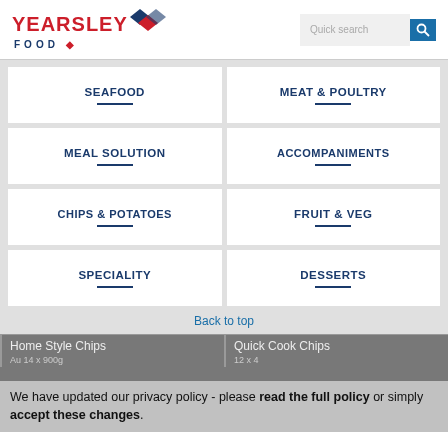[Figure (logo): Yearsley Food logo with red text and diamond/chevron graphic]
Quick search
SEAFOOD
MEAT & POULTRY
MEAL SOLUTION
ACCOMPANIMENTS
CHIPS & POTATOES
FRUIT & VEG
SPECIALITY
DESSERTS
Back to top
Home Style Chips
Quick Cook Chips
Au...  14 x 900g
12 x 4...
We have updated our privacy policy - please read the full policy or simply accept these changes.
Home Chips
Oven Chips